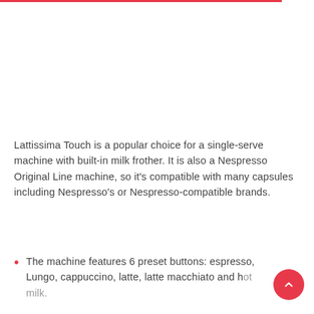Lattissima Touch is a popular choice for a single-serve machine with built-in milk frother. It is also a Nespresso Original Line machine, so it's compatible with many capsules including Nespresso's or Nespresso-compatible brands.
The machine features 6 preset buttons: espresso, Lungo, cappuccino, latte, latte macchiato and hot milk.